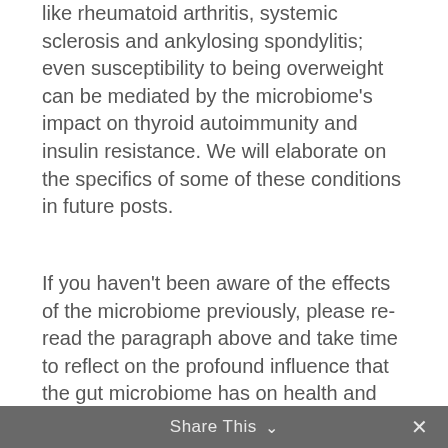like rheumatoid arthritis, systemic sclerosis and ankylosing spondylitis; even susceptibility to being overweight can be mediated by the microbiome's impact on thyroid autoimmunity and insulin resistance. We will elaborate on the specifics of some of these conditions in future posts.
If you haven't been aware of the effects of the microbiome previously, please re-read the paragraph above and take time to reflect on the profound influence that the gut microbiome has on health and wellbeing. If you wish to find more information on how the microbiome influences human health, look here.
Share This ∨  ✕